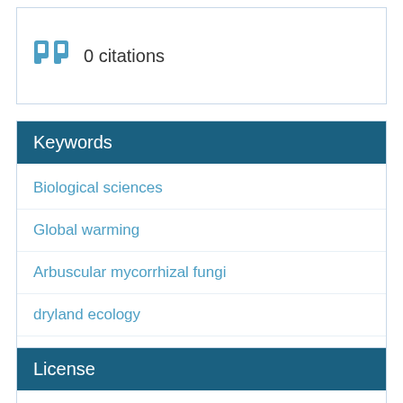0 citations
Keywords
Biological sciences
Global warming
Arbuscular mycorrhizal fungi
dryland ecology
Plant Ecology
License